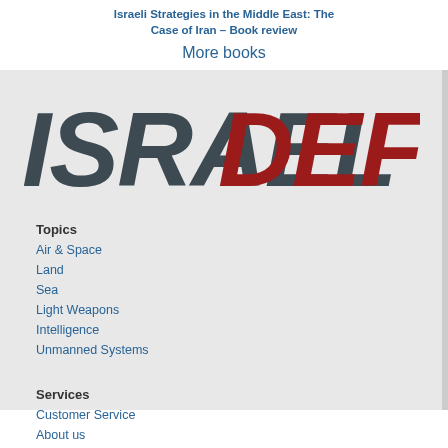Israeli Strategies in the Middle East: The Case of Iran – Book review
More books
[Figure (logo): Israel Defense logo — ISRAEL in dark gray italic bold, DEFENSE in dark red italic bold]
Topics
Air & Space
Land
Sea
Light Weapons
Intelligence
Unmanned Systems
Services
Customer Service
About us
Contact us